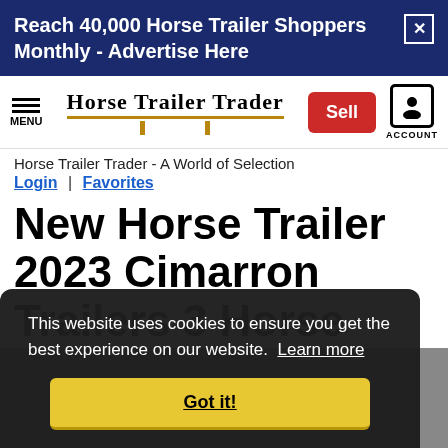Reach 40,000 Horse Trailer Shoppers Monthly - Advertise Here
[Figure (logo): Horse Trailer Trader logo with menu icon, sell button, and account icon in navigation bar]
Horse Trailer Trader - A World of Selection
Login | Favorites
New Horse Trailer 2023 Cimarron Trailers 3 Horse 14'6 LQ
This website uses cookies to ensure you get the best experience on our website. Learn more
Got it!